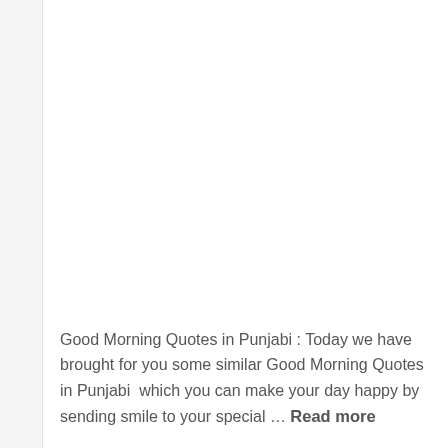Good Morning Quotes in Punjabi : Today we have brought for you some similar Good Morning Quotes in Punjabi  which you can make your day happy by sending smile to your special … Read more